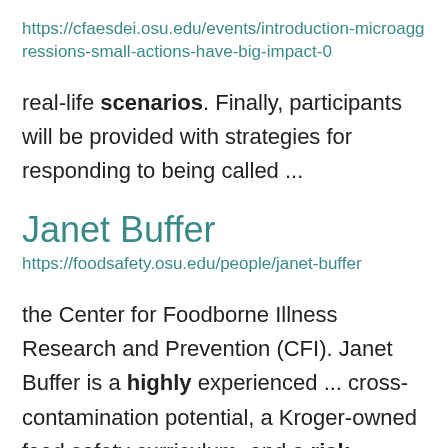https://cfaesdei.osu.edu/events/introduction-microaggressions-small-actions-have-big-impact-0
real-life scenarios. Finally, participants will be provided with strategies for responding to being called ...
Janet Buffer
https://foodsafety.osu.edu/people/janet-buffer
the Center for Foodborne Illness Research and Prevention (CFI). Janet Buffer is a highly experienced ... cross-contamination potential, a Kroger-owned food safety curriculum, and a risk assessment for use in the deli ... education at all industry levels. MPH, Veterinary Public Health with